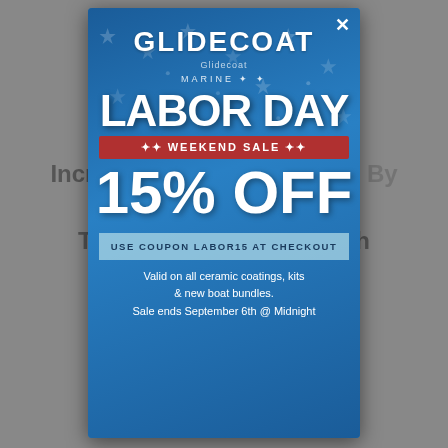[Figure (screenshot): Blurred webpage background showing text about 'Increase Gloss And Shine By More Than 15%...' with a gray overlay]
[Figure (infographic): Glidecoat Labor Day Weekend Sale popup modal with blue background and stars pattern]